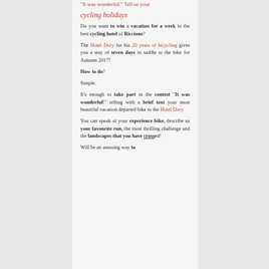"It was wonderful." Tell us your cycling holidays
Do you want to win a vacation for a week to the best cycling hotel of Riccione?
The Hotel Dory for his 20 years of bicycling gives you a stay of seven days in saddle to the bike for Autumn 2017!
How to do?
Simple.
It's enough to take part in the contest "It was wonderful!" telling with a brief text your most beautiful vacation departed bike to the Hotel Dory.
You can speak of your experience bike, describe us your favourite run, the most thrilling challenge and the landscapes that you have crossed!
Will be an amusing way to